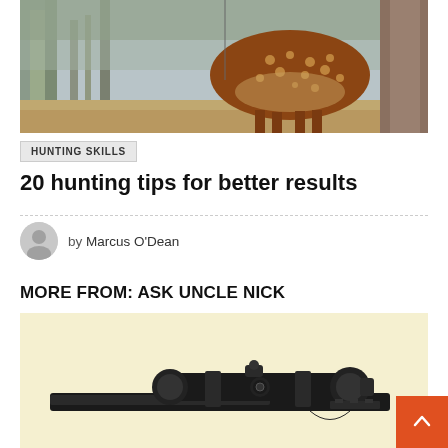[Figure (photo): A spotted deer (chital/axis deer) standing among trees in a forest setting, viewed from behind/side, showing its brown coat with white spots.]
HUNTING SKILLS
20 hunting tips for better results
by Marcus O'Dean
MORE FROM: ASK UNCLE NICK
[Figure (photo): A rifle with a mounted telescopic scope on a light yellow/cream background, viewed from the side.]